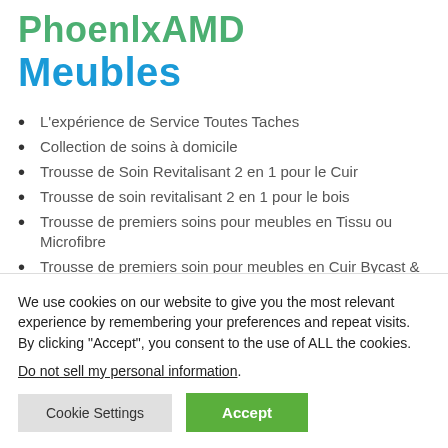PhoenIxAMD Meubles
L'expérience de Service Toutes Taches
Collection de soins à domicile
Trousse de Soin Revitalisant 2 en 1 pour le Cuir
Trousse de soin revitalisant 2 en 1 pour le bois
Trousse de premiers soins pour meubles en Tissu ou Microfibre
Trousse de premiers soin pour meubles en Cuir Bycast &
We use cookies on our website to give you the most relevant experience by remembering your preferences and repeat visits. By clicking "Accept", you consent to the use of ALL the cookies.
Do not sell my personal information.